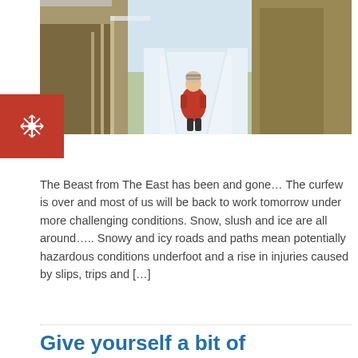[Figure (photo): A person wearing a red jacket and winter hat walking along a narrow snowy path flanked by a wooden fence on the left and tall dry hedgerow on the right.]
The Beast from The East has been and gone… The curfew is over and most of us will be back to work tomorrow under more challenging conditions. Snow, slush and ice are all around….. Snowy and icy roads and paths mean potentially hazardous conditions underfoot and a rise in injuries caused by slips, trips and […]
Read more …
Give yourself a bit of